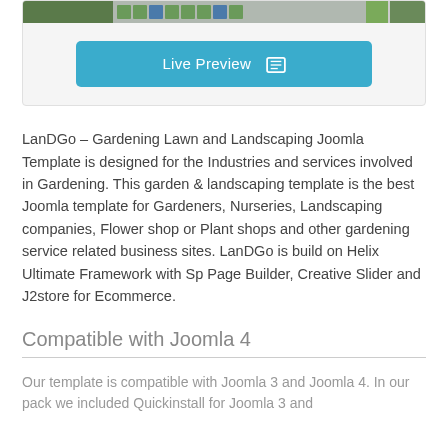[Figure (screenshot): Top card with image strip thumbnails showing green landscape images and a Live Preview button]
LanDGo – Gardening Lawn and Landscaping Joomla Template is designed for the Industries and services involved in Gardening. This garden & landscaping template is the best Joomla template for Gardeners, Nurseries, Landscaping companies, Flower shop or Plant shops and other gardening service related business sites. LanDGo is build on Helix Ultimate Framework with Sp Page Builder, Creative Slider and J2store for Ecommerce.
Compatible with Joomla 4
Our template is compatible with Joomla 3 and Joomla 4. In our pack we included Quickinstall for Joomla 3 and